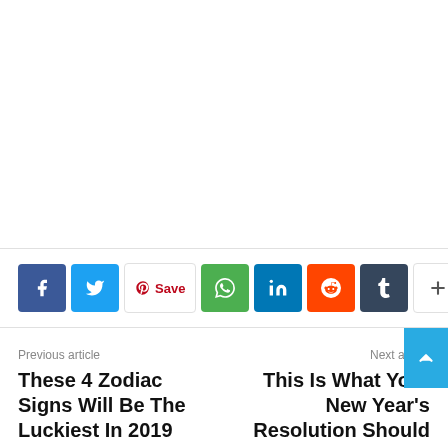[Figure (other): Social media share buttons bar: Facebook (blue), Twitter (light blue), Pinterest Save (white/red), WhatsApp (green), LinkedIn (dark blue), Reddit (orange), Tumblr (dark slate), More/Plus (white)]
Previous article
These 4 Zodiac Signs Will Be The Luckiest In 2019
Next article
This Is What Your New Year's Resolution Should Be.